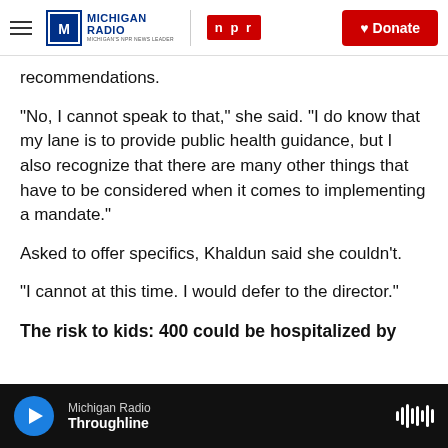[Figure (screenshot): Michigan Radio NPR website navigation bar with hamburger menu, Michigan Radio logo, NPR logo, and red Donate button]
recommendations.
“No, I cannot speak to that,” she said. “I do know that my lane is to provide public health guidance, but I also recognize that there are many other things that have to be considered when it comes to implementing a mandate.”
Asked to offer specifics, Khaldun said she couldn’t.
“I cannot at this time. I would defer to the director.”
The risk to kids: 400 could be hospitalized by
[Figure (screenshot): Michigan Radio audio player bar at bottom showing play button, station name Michigan Radio, show name Throughline, and waveform icon]